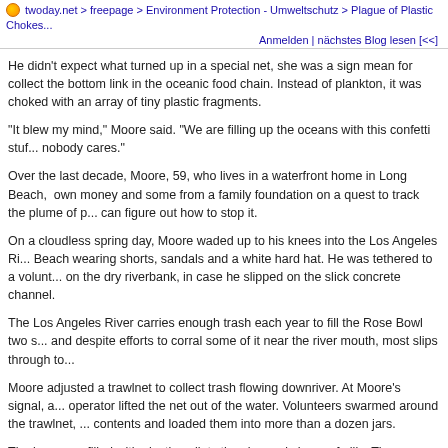twoday.net > freepage > Environment Protection - Umweltschutz > Plague of Plastic Chokes...
Anmelden | nächstes Blog lesen [<<]
He didn't expect what turned up in a special net, she was a sign mean for collect the bottom link in the oceanic food chain. Instead of plankton, it was choked with an array of tiny plastic fragments.
"It blew my mind," Moore said. "We are filling up the oceans with this confetti stuff and nobody cares."
Over the last decade, Moore, 59, who lives in a waterfront home in Long Beach, has spent own money and some from a family foundation on a quest to track the plume of p... can figure out how to stop it.
On a cloudless spring day, Moore waded up to his knees into the Los Angeles Ri... Beach wearing shorts, sandals and a white hard hat. He was tethered to a volunt... on the dry riverbank, in case he slipped on the slick concrete channel.
The Los Angeles River carries enough trash each year to fill the Rose Bowl two s... and despite efforts to corral some of it near the river mouth, most slips through to...
Moore adjusted a trawlnet to collect trash flowing downriver. At Moore's signal, a... operator lifted the net out of the water. Volunteers swarmed around the trawlnet, ... contents and loaded them into more than a dozen jars.
The jars were filled with plastic pellets the size and shape of pills. They come in...